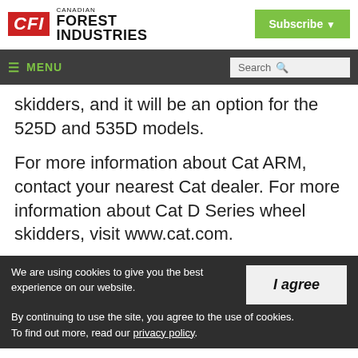Canadian Forest Industries | Subscribe
≡ MENU | Search
skidders, and it will be an option for the 525D and 535D models.
For more information about Cat ARM, contact your nearest Cat dealer. For more information about Cat D Series wheel skidders, visit www.cat.com.
We are using cookies to give you the best experience on our website. By continuing to use the site, you agree to the use of cookies. To find out more, read our privacy policy.